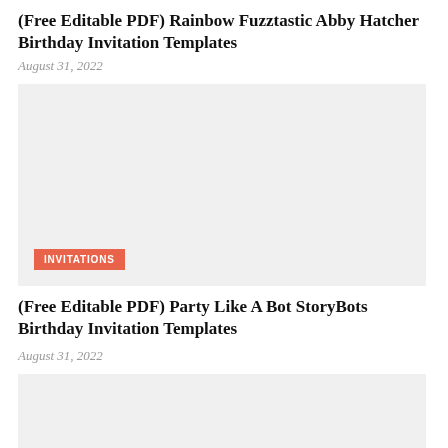(Free Editable PDF) Rainbow Fuzztastic Abby Hatcher Birthday Invitation Templates
August 31, 2022
[Figure (photo): Thumbnail image placeholder for Rainbow Fuzztastic Abby Hatcher Birthday Invitation Templates with INVITATIONS badge]
(Free Editable PDF) Party Like A Bot StoryBots Birthday Invitation Templates
August 31, 2022
[Figure (photo): Thumbnail image placeholder for Party Like A Bot StoryBots Birthday Invitation Templates]